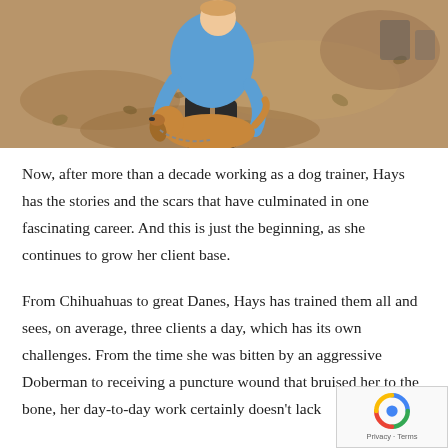[Figure (photo): A person in a blue polo shirt crouching down to interact with a golden/brown dog on a dirt or sandy ground with leaves scattered around.]
Now, after more than a decade working as a dog trainer, Hays has the stories and the scars that have culminated in one fascinating career. And this is just the beginning, as she continues to grow her client base.
From Chihuahuas to great Danes, Hays has trained them all and sees, on average, three clients a day, which has its own challenges. From the time she was bitten by an aggressive Doberman to receiving a puncture wound that bruised her to the bone, her day-to-day work certainly doesn't lack